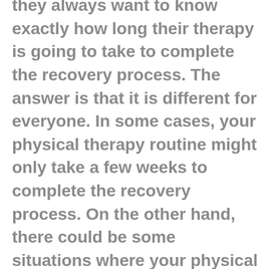they always want to know exactly how long their therapy is going to take to complete the recovery process. The answer is that it is different for everyone. In some cases, your physical therapy routine might only take a few weeks to complete the recovery process. On the other hand, there could be some situations where your physical therapy routine could take several months. The more severe injury, the longer your recovery is going to last. At the same time, we are going to keep you informed every step of the way. A trained provider from our office is going to let you know exactly which exercises you are performing, why, and how long you can expect your recovery process to take.